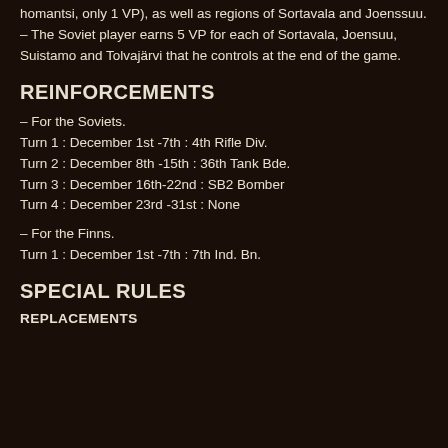homantsi, only 1 VP), as well as regions of Sortavala and Joenssuu.
– The Soviet player earns 5 VP for each of Sortavala, Joensuu, Suistamo and Tolvajärvi that he controls at the end of the game.
REINFORCEMENTS
– For the Soviets.
Turn 1 : December 1st -7th : 4th Rifle Div.
Turn 2 : December 8th -15th : 36th Tank Bde.
Turn 3 : December 16th-22nd : SB2 Bomber
Turn 4 : December 23rd -31st : None
– For the Finns.
Turn 1 : December 1st -7th : 7th Ind. Bn.
SPECIAL RULES
REPLACEMENTS